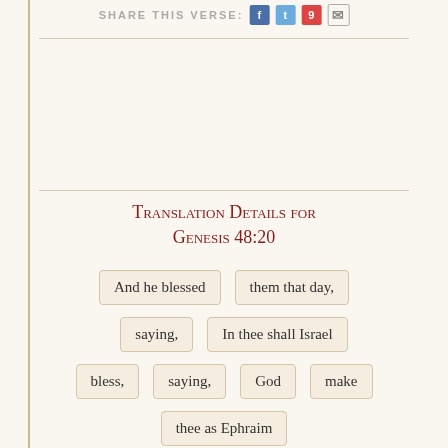Share This Verse:
Translation Details for Genesis 48:20
And he blessed | them that day, | saying, | In thee shall Israel | bless, | saying, | God | make | thee as Ephraim